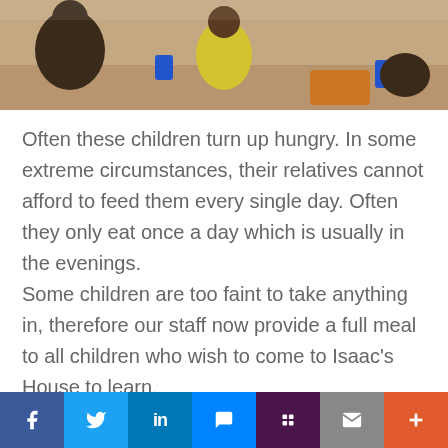[Figure (photo): Photo of children eating a meal, seated around food trays with cups, in what appears to be Isaac's House]
Often these children turn up hungry. In some extreme circumstances, their relatives cannot afford to feed them every single day. Often they only eat once a day which is usually in the evenings.
Some children are too faint to take anything in, therefore our staff now provide a full meal to all children who wish to come to Isaac's House to learn.
We now have nine children coming to the house four days per week, meaning that we are